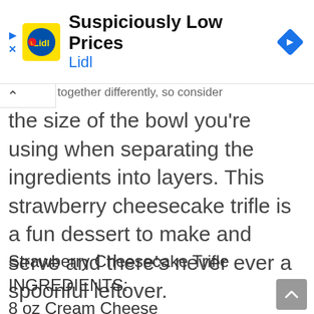[Figure (infographic): Lidl advertisement banner with Lidl logo, text 'Suspiciously Low Prices' and 'Lidl', and a blue diamond navigation arrow icon on the right. Play and close icons on the left.]
together differently, so consider the size of the bowl you're using when separating the ingredients into layers. This strawberry cheesecake trifle is a fun dessert to make and serve and there's never ever a spoonful leftover.
Strawberry Cheesecake Trifle INGREDIENTS: 8 oz Cream Cheese